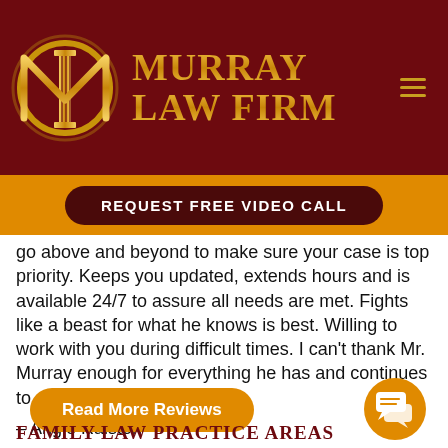[Figure (logo): Murray Law Firm logo with decorative gold M and column on dark red background, with firm name in gold serif text and hamburger menu icon]
[Figure (other): Orange banner bar with dark red pill-shaped button reading REQUEST FREE VIDEO CALL]
go above and beyond to make sure your case is top priority. Keeps you updated, extends hours and is available 24/7 to assure all needs are met. Fights like a beast for what he knows is best. Willing to work with you during difficult times. I can’t thank Mr. Murray enough for everything he has and continues to do”
– Angie Ralston
[Figure (other): Orange rounded button labeled Read More Reviews]
[Figure (other): Orange circular chat/message icon in the bottom right]
FAMILY LAW PRACTICE AREAS